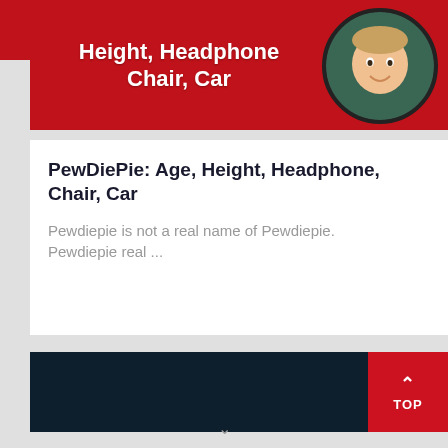[Figure (screenshot): Red banner with bold white text reading 'Height, Headphone, Chair, Car' and a circular avatar portrait photo of a young man on the right side]
PewDiePie: Age, Height, Headphone, Chair, Car
Pewdiepie is not a real name of Pewdiepie. Pewdiepie real ...
[Figure (screenshot): Dark navy/black footer bar with a red 'TOP' button with upward chevron arrow on the right side]